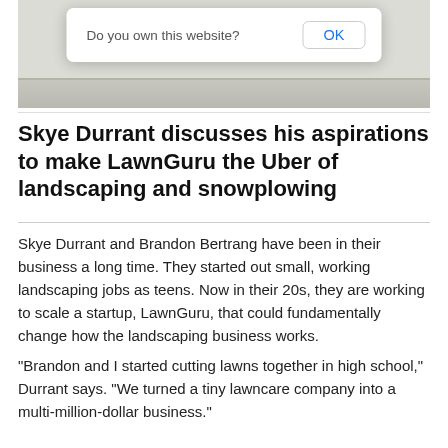[Figure (screenshot): A browser or app dialog popup asking 'Do you own this website?' with an OK button, overlaid on a webpage background.]
Skye Durrant discusses his aspirations to make LawnGuru the Uber of landscaping and snowplowing
Skye Durrant and Brandon Bertrang have been in their business a long time. They started out small, working landscaping jobs as teens. Now in their 20s, they are working to scale a startup, LawnGuru, that could fundamentally change how the landscaping business works.
“Brandon and I started cutting lawns together in high school,” Durrant says. “We turned a tiny lawncare company into a multi-million-dollar business.”